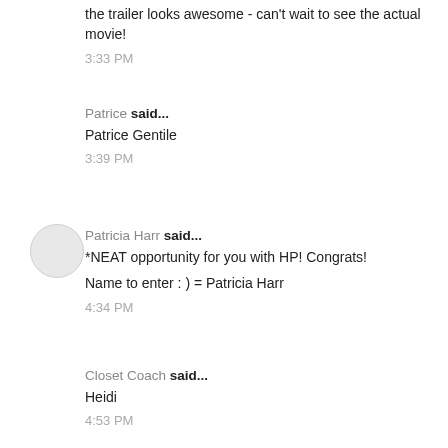the trailer looks awesome - can't wait to see the actual movie!
3:33 PM
Patrice said...
Patrice Gentile
3:39 PM
Patricia Harr said...
*NEAT opportunity for you with HP! Congrats!
Name to enter : ) = Patricia Harr
4:34 PM
Closet Coach said...
Heidi
4:53 PM